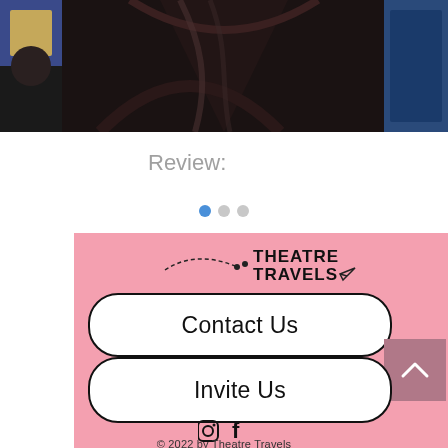[Figure (photo): Top strip: thumbnail images on left and right, large dark main image in center showing a dark reflective fabric/material]
Review:
[Figure (other): Carousel navigation dots: one blue filled dot followed by two grey dots]
[Figure (logo): Theatre Travels logo with dashed line and paper airplane decoration]
Contact Us
Invite Us
[Figure (other): Instagram and Facebook social media icons]
© 2022 by Theatre Travels